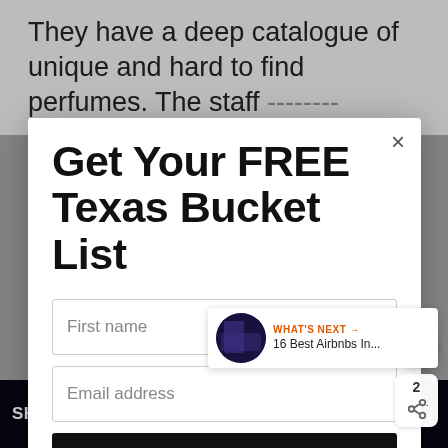They have a deep catalogue of unique and hard to find perfumes. The staff...
Get Your FREE Texas Bucket List
First name
Email address
Subscribe
WHAT'S NEXT → 16 Best Airbnbs In...
SHE CAN STEM Learn More